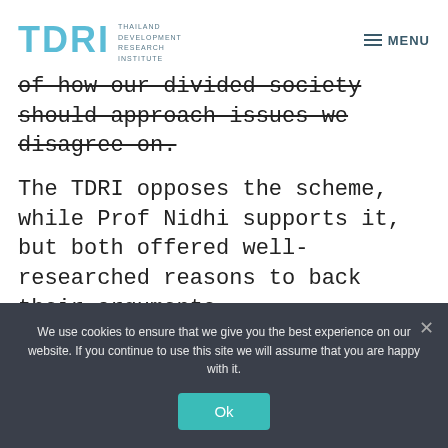TDRI — THAILAND DEVELOPMENT RESEARCH INSTITUTE | MENU
of how our divided society should approach issues we disagree on.
The TDRI opposes the scheme, while Prof Nidhi supports it, but both offered well-researched reasons to back their arguments.
The study on the 3G auction which was held by the National Broadcasting and Telecommunications Commission (NBTC) this year
We use cookies to ensure that we give you the best experience on our website. If you continue to use this site we will assume that you are happy with it.